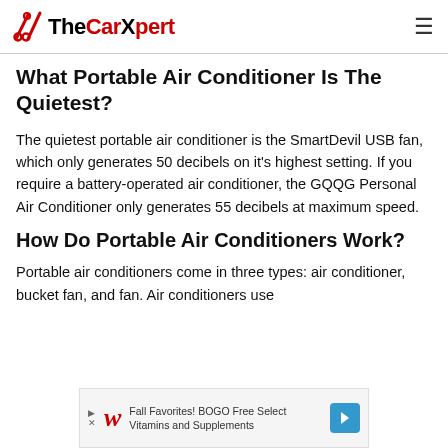TheCarXpert
What Portable Air Conditioner Is The Quietest?
The quietest portable air conditioner is the SmartDevil USB fan, which only generates 50 decibels on it's highest setting. If you require a battery-operated air conditioner, the GQQG Personal Air Conditioner only generates 55 decibels at maximum speed.
How Do Portable Air Conditioners Work?
Portable air conditioners come in three types: air conditioner, bucket fan, and fan. Air conditioners use
[Figure (other): Advertisement banner: Walgreens Fall Favorites! BOGO Free Select Vitamins and Supplements]